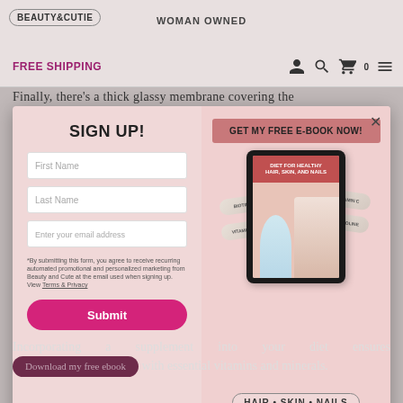BEAUTY & CUTIE   WOMAN OWNED
FREE SHIPPING
Finally, there's a thick glassy membrane covering the
[Figure (screenshot): Sign up modal popup with left panel (SIGN UP! form with First Name, Last Name, email fields and Submit button, fine print about Terms & Privacy) and right panel (GET MY FREE E-BOOK NOW! banner with tablet showing Diet for Healthy Hair Skin and Nails ebook cover with pills labeled BIOTIN, VITAMIN E, VITAMIN C, PROLINE, and HAIR • SKIN • NAILS text)]
Incorporating a supplement into your diet ensures Download my free ebook with essential vitamins and minerals.